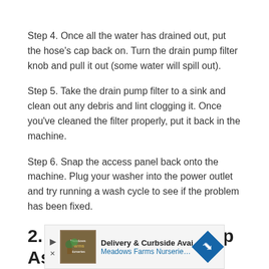Step 4. Once all the water has drained out, put the hose’s cap back on. Turn the drain pump filter knob and pull it out (some water will spill out).
Step 5. Take the drain pump filter to a sink and clean out any debris and lint clogging it. Once you’ve cleaned the filter properly, put it back in the machine.
Step 6. Snap the access panel back onto the machine. Plug your washer into the power outlet and try running a wash cycle to see if the problem has been fixed.
2. Defective Drain Pump Assembly
[Figure (other): Advertisement banner for Meadows Farms Nurseries and Landscape with delivery and curbside pickup offer]